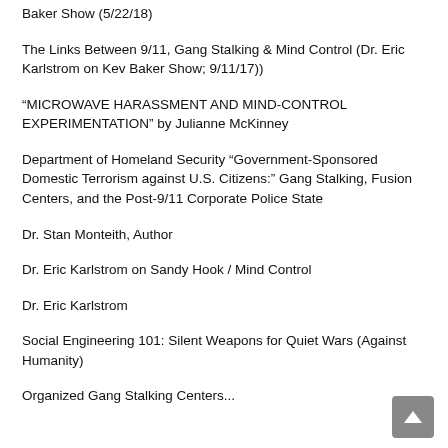Baker Show (5/22/18)
The Links Between 9/11, Gang Stalking & Mind Control (Dr. Eric Karlstrom on Kev Baker Show; 9/11/17))
“MICROWAVE HARASSMENT AND MIND-CONTROL EXPERIMENTATION” by Julianne McKinney
Department of Homeland Security “Government-Sponsored Domestic Terrorism against U.S. Citizens:” Gang Stalking, Fusion Centers, and the Post-9/11 Corporate Police State
Dr. Stan Monteith, Author
Dr. Eric Karlstrom on Sandy Hook / Mind Control
Dr. Eric Karlstrom
Social Engineering 101: Silent Weapons for Quiet Wars (Against Humanity)
Organized Gang Stalking Centers...